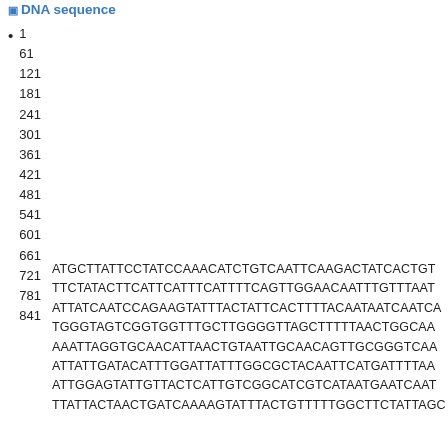DNA sequence
1
61
121
181
241
301
361
421
481
541
601
661
721
781
841
ATGCTTATTCCTATCCAAACATCTGTCAATTCAAGACTATCACTGT
TTCTATACTTCATTCATTTCATTTTCAGTTGGAACAATTTGTTTAAT
ATTATCAATCCAGAAGTATTTACTATTCACTTTACAATAATCAATCA
TGGGTAGTCGGTGGTTTGCTTGGGGTTAGCTTTTAACTGGCAA
AAATTAGGTGCAACATTAACTGTAATTGCAACAlottGCGGGTCAA
ATTATTGATACATTTGGATTATTTGGCGCTACAAITCATGATTTTAA
ATTGGAGTATTGTTACTCATTGTCGGCATCGTCATAATGAATCAAT
TTATTACTAACTGATCAAAAGTATTTACTGTTTTGGCTTCTATTAGC